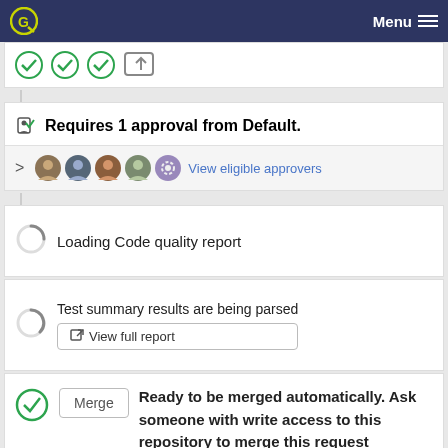Menu
[Figure (screenshot): Three green checkmarks and a share/upload icon in a white card section at the top]
Requires 1 approval from Default.
[Figure (screenshot): Row of user avatars with View eligible approvers link]
Loading Code quality report
Test summary results are being parsed
View full report
Ready to be merged automatically. Ask someone with write access to this repository to merge this request